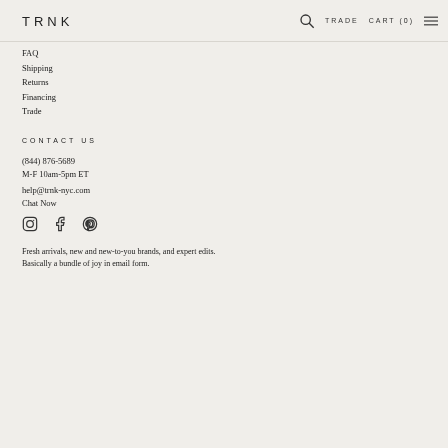TRNK  TRADE  CART (0)
FAQ
Shipping
Returns
Financing
Trade
CONTACT US
(844) 876-5689
M-F 10am-5pm ET
help@trnk-nyc.com
Chat Now
[Figure (illustration): Social media icons: Instagram, Facebook, Pinterest]
Fresh arrivals, new and new-to-you brands, and expert edits. Basically a bundle of joy in email form.